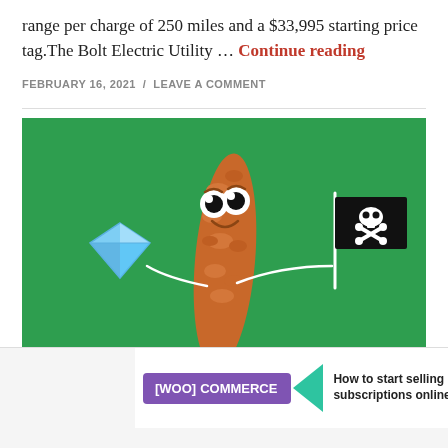range per charge of 250 miles and a $33,995 starting price tag.The Bolt Electric Utility … Continue reading
FEBRUARY 16, 2021 / LEAVE A COMMENT
[Figure (illustration): Cartoon chicken tender character with big eyes holding a diamond gem in its left hand and a pirate skull-and-crossbones flag in its right hand, on a green background]
The Dirty Secret Robinhooders
Advertisements
[Figure (other): WooCommerce advertisement banner: purple WooCommerce logo with teal arrow and text 'How to start selling subscriptions online']